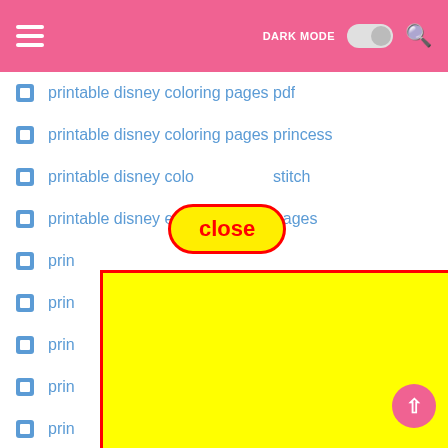DARK MODE [toggle] [search]
printable disney coloring pages pdf
printable disney coloring pages princess
printable disney coloring pages stitch
printable disney easter coloring pages
prin...
prin...
prin...
prin...
prin...
prin...
prin...
[Figure (screenshot): Yellow advertisement block partially overlapping the list, with a red close button overlay in a rounded pill shape reading 'close']